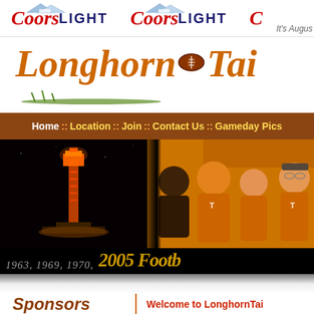[Figure (logo): Coors Light banner with two logos visible and partial third, date text 'It's Augus...' on right]
[Figure (logo): Longhorn Tailgate site logo in orange italic script with football graphic and grass decoration]
Home :: Location :: Join :: Contact Us :: Gameday Pics
[Figure (photo): Hero banner: left half shows UT Tower lit orange at night, right half shows group of fans in Longhorn orange. Bottom text: 1963, 1969, 1970, 2005 Footb...]
Sponsors
Welcome to LonghornTai...